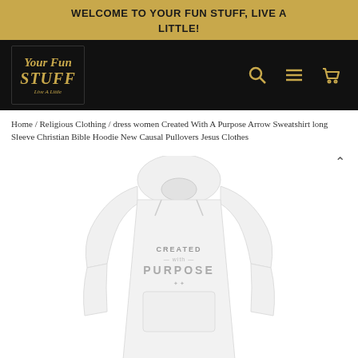WELCOME TO YOUR FUN STUFF, LIVE A LITTLE!
[Figure (logo): Your Fun Stuff logo with gold cursive text on black background with 'Live A Little' tagline]
Home / Religious Clothing / dress women Created With A Purpose Arrow Sweatshirt long Sleeve Christian Bible Hoodie New Causal Pullovers Jesus Clothes
[Figure (photo): White long-sleeve hoodie sweatshirt with 'Created with Purpose' text printed on the front, displayed on white background]